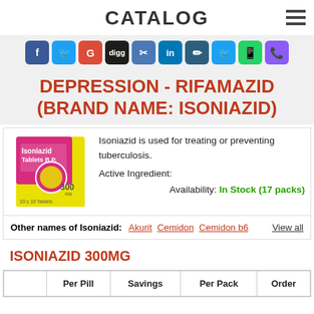CATALOG
[Figure (infographic): Social media sharing icons row: Facebook, Twitter, Google+, Digg, Delicious, LinkedIn, Pinterest, Twitter, WhatsApp, Viber]
DEPRESSION - RIFAMAZID (BRAND NAME: ISONIAZID)
[Figure (photo): Box of Isoniazid Tablets B.P. 300mg, 10x10 Tablets, yellow and pink packaging]
Isoniazid is used for treating or preventing tuberculosis.
Active Ingredient:
Availability: In Stock (17 packs)
Other names of Isoniazid: Akurit  Cemidon  Cemidon b6    View all
ISONIAZID 300MG
|  | Per Pill | Savings | Per Pack | Order |
| --- | --- | --- | --- | --- |